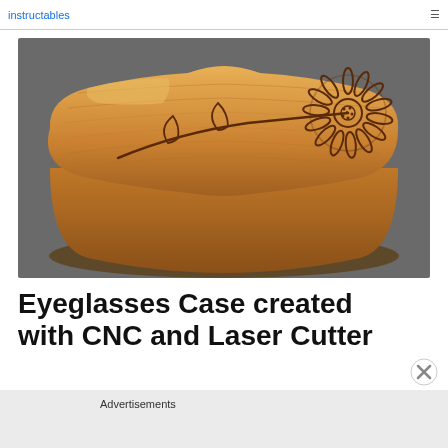[Figure (photo): A wooden eyeglasses case with a laser-engraved daisy flower with stem and leaves on top surface. The case has rounded, organic shape and is made from warm honey-toned wood.]
Eyeglasses Case created with CNC and Laser Cutter
Advertisements